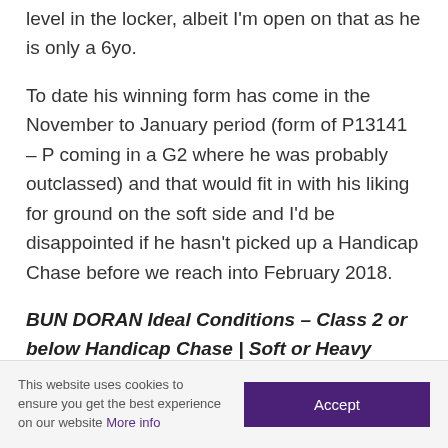level in the locker, albeit I'm open on that as he is only a 6yo.
To date his winning form has come in the November to January period (form of P13141 – P coming in a G2 where he was probably outclassed) and that would fit in with his liking for ground on the soft side and I'd be disappointed if he hasn't picked up a Handicap Chase before we reach into February 2018.
BUN DORAN Ideal Conditions – Class 2 or below Handicap Chase | Soft or Heavy ground probably ideal | November – January could
This website uses cookies to ensure you get the best experience on our website More info   Accept